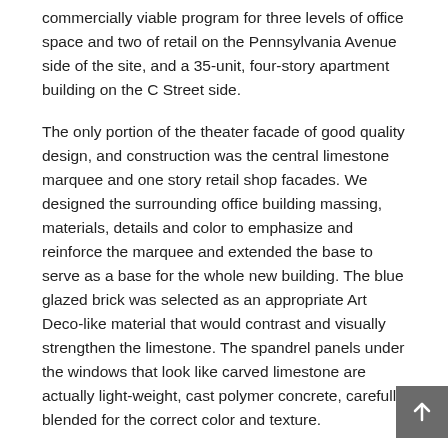commercially viable program for three levels of office space and two of retail on the Pennsylvania Avenue side of the site, and a 35-unit, four-story apartment building on the C Street side.
The only portion of the theater facade of good quality design, and construction was the central limestone marquee and one story retail shop facades. We designed the surrounding office building massing, materials, details and color to emphasize and reinforce the marquee and extended the base to serve as a base for the whole new building. The blue glazed brick was selected as an appropriate Art Deco-like material that would contrast and visually strengthen the limestone. The spandrel panels under the windows that look like carved limestone are actually light-weight, cast polymer concrete, carefully blended for the correct color and texture.
The facade of the apartment building responds to the red brick Eastern Market and the small town houses along C Street. The four projecting bays of this facade create an